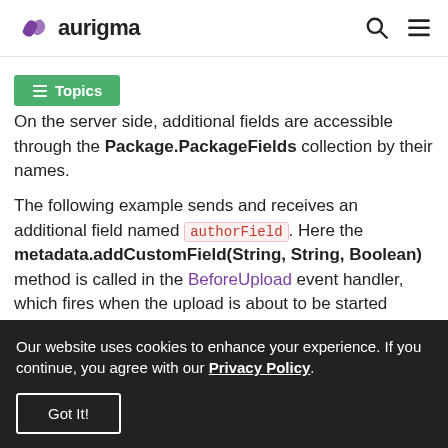aurigma
On the server side, additional fields are accessible through the Package.PackageFields collection by their names.
The following example sends and receives an additional field named authorField. Here the metadata.addCustomField(String, String, Boolean) method is called in the BeforeUpload event handler, which fires when the upload is about to be started
Our website uses cookies to enhance your experience. If you continue, you agree with our Privacy Policy.